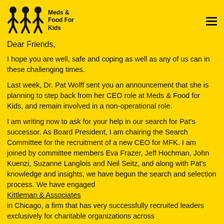Meds & Food For Kids
Dear Friends,
I hope you are well, safe and coping as well as any of us can in these challenging times.
Last week, Dr. Pat Wolff sent you an announcement that she is planning to step back from her CEO role at Meds & Food for Kids, and remain involved in a non-operational role.
I am writing now to ask for your help in our search for Pat's successor. As Board President, I am chairing the Search Committee for the recruitment of a new CEO for MFK. I am joined by committee members Eva Frazer, Jeff Hochman, John Kuenzi, Suzanne Langlois and Neil Seitz, and along with Pat's knowledge and insights, we have begun the search and selection process. We have engaged Kittleman & Associates in Chicago, a firm that has very successfully recruited leaders exclusively for charitable organizations across